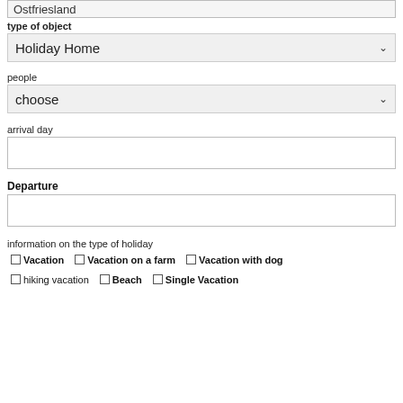Ostfriesland
type of object
Holiday Home
people
choose
arrival day
Departure
information on the type of holiday
Vacation
Vacation on a farm
Vacation with dog
hiking vacation
Beach
Single Vacation